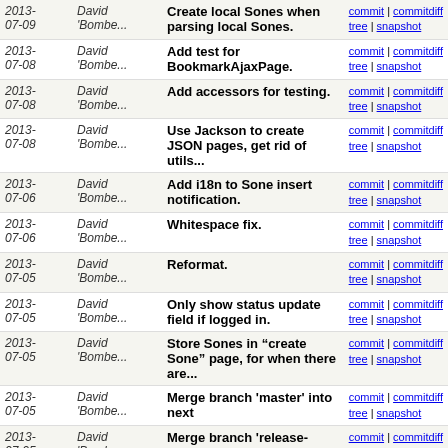| Date | Author | Message | Links |
| --- | --- | --- | --- |
| 2013-07-09 | David 'Bombe... | Create local Sones when parsing local Sones. | commit | commitdiff | tree | snapshot |
| 2013-07-08 | David 'Bombe... | Add test for BookmarkAjaxPage. | commit | commitdiff | tree | snapshot |
| 2013-07-08 | David 'Bombe... | Add accessors for testing. | commit | commitdiff | tree | snapshot |
| 2013-07-08 | David 'Bombe... | Use Jackson to create JSON pages, get rid of utils... | commit | commitdiff | tree | snapshot |
| 2013-07-06 | David 'Bombe... | Add i18n to Sone insert notification. | commit | commitdiff | tree | snapshot |
| 2013-07-06 | David 'Bombe... | Whitespace fix. | commit | commitdiff | tree | snapshot |
| 2013-07-05 | David 'Bombe... | Reformat. | commit | commitdiff | tree | snapshot |
| 2013-07-05 | David 'Bombe... | Only show status update field if logged in. | commit | commitdiff | tree | snapshot |
| 2013-07-05 | David 'Bombe... | Store Sones in “create Sone” page, for when there are... | commit | commitdiff | tree | snapshot |
| 2013-07-05 | David 'Bombe... | Merge branch 'master' into next | commit | commitdiff | tree | snapshot |
| 2013-07-05 | David 'Bombe... | Merge branch 'release-0.8.6' [0.8.6] | commit | commitdiff | tree | snapshot |
| 2013-07-05 | David 'Bombe... | Set version to 0.8.6. | commit | commitdiff | tree | snapshot |
| 2013-07-05 | David 'Bombe... | Update latest edition of homepage. | commit | commitdiff | tree | snapshot |